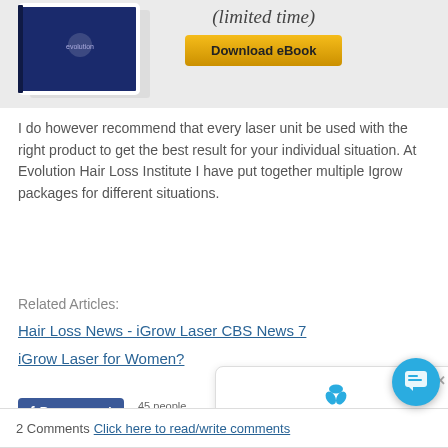[Figure (illustration): Book/eBook cover image with Evolution Institute branding on left, and '(limited time)' italic text with a gold 'Download eBook' button on right]
I do however recommend that every laser unit be used with the right product to get the best result for your individual situation. At Evolution Hair Loss Institute I have put together multiple Igrow packages for different situations.
Related Articles:
Hair Loss News - iGrow Laser CBS News 7
iGrow Laser for Women?
[Figure (screenshot): Facebook Recommend button followed by '45 people recommend...' text, and a chat popup overlay with triskelion logo, close X button, and 'Hello! How can I help you?' message]
2 Comments Click here to read/write comments